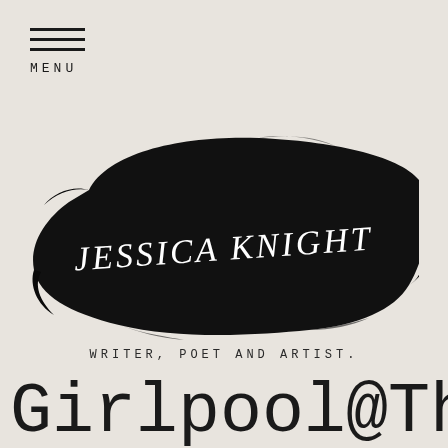MENU
[Figure (illustration): Black ink brush stroke with handwritten text 'JESSICA KNIGHT' in white on top]
WRITER, POET AND ARTIST.
Girlpool@The